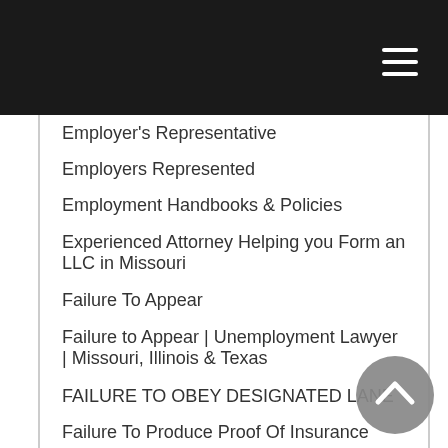Employer's Representative
Employers Represented
Employment Handbooks & Policies
Experienced Attorney Helping you Form an LLC in Missouri
Failure To Appear
Failure to Appear | Unemployment Lawyer | Missouri, Illinois & Texas
FAILURE TO OBEY DESIGNATED LANE
Failure To Produce Proof Of Insurance
Family Law Attorney
Firm Overview
Foreclosure and Debt Relief
Foreclosure Defense
Forged Licence
Helpful Links and Legal Resources
Hospit'Media…